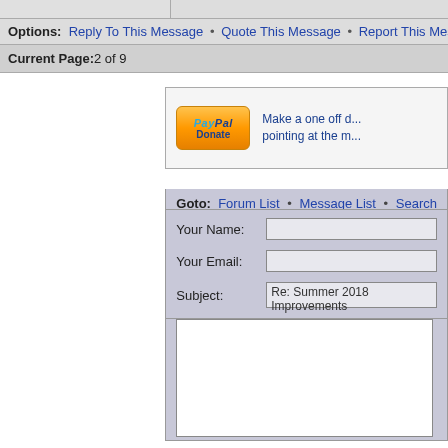Options: Reply To This Message • Quote This Message • Report This Messa
Current Page: 2 of 9
[Figure (screenshot): PayPal Donate button with text: Make a one off donation... pointing at the m...]
Goto: Forum List • Message List • Search
Your Name: [input field]
Your Email: [input field]
Subject: Re: Summer 2018 Improvements
[Message text area]